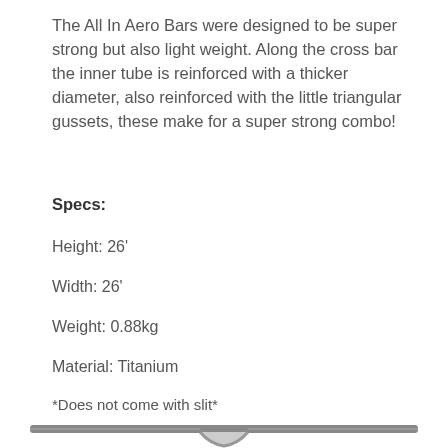The All In Aero Bars were designed to be super strong but also light weight. Along the cross bar the inner tube is reinforced with a thicker diameter, also reinforced with the little triangular gussets, these make for a super strong combo!
Specs:
Height: 26'
Width: 26'
Weight: 0.88kg
Material: Titanium
*Does not come with slit*
[Figure (photo): Photo of All In Aero Bars handlebar — a metallic T-bar / aero bar component shown from the front, silver/chrome finish]